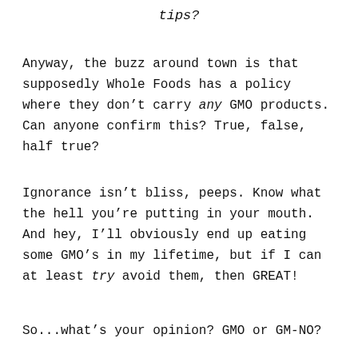tips?
Anyway, the buzz around town is that supposedly Whole Foods has a policy where they don't carry any GMO products. Can anyone confirm this? True, false, half true?
Ignorance isn't bliss, peeps. Know what the hell you're putting in your mouth. And hey, I'll obviously end up eating some GMO's in my lifetime, but if I can at least try avoid them, then GREAT!
So...what's your opinion? GMO or GM-NO?